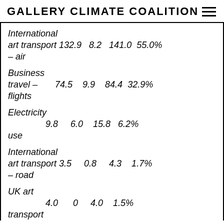GALLERY CLIMATE COALITION
| Category | Col1 | Col2 | Col3 | Col4 |
| --- | --- | --- | --- | --- |
| International art transport – air | 132.9 | 8.2 | 141.0 | 55.0% |
| Business travel – flights | 74.5 | 9.9 | 84.4 | 32.9% |
| Electricity use | 9.8 | 6.0 | 15.8 | 6.2% |
| International art transport – road | 3.5 | 0.8 | 4.3 | 1.7% |
| UK art transport | 4.0 | 0 | 4.0 | 1.5% |